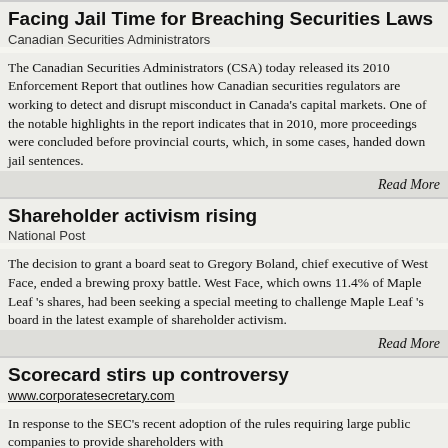Facing Jail Time for Breaching Securities Laws
Canadian Securities Administrators
The Canadian Securities Administrators (CSA) today released its 2010 Enforcement Report that outlines how Canadian securities regulators are working to detect and disrupt misconduct in Canada's capital markets. One of the notable highlights in the report indicates that in 2010, more proceedings were concluded before provincial courts, which, in some cases, handed down jail sentences.
Read More
Shareholder activism rising
National Post
The decision to grant a board seat to Gregory Boland, chief executive of West Face, ended a brewing proxy battle. West Face, which owns 11.4% of Maple Leaf 's shares, had been seeking a special meeting to challenge Maple Leaf 's board in the latest example of shareholder activism.
Read More
Scorecard stirs up controversy
www.corporatesecretary.com
In response to the SEC's recent adoption of the rules requiring large public companies to provide shareholders with